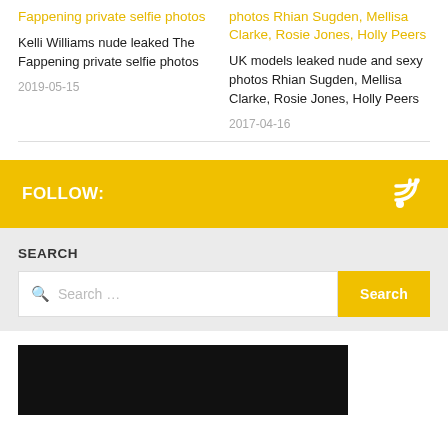Fappening private selfie photos
Kelli Williams nude leaked The Fappening private selfie photos
2019-05-15
photos Rhian Sugden, Mellisa Clarke, Rosie Jones, Holly Peers
UK models leaked nude and sexy photos Rhian Sugden, Mellisa Clarke, Rosie Jones, Holly Peers
2017-04-16
FOLLOW:
SEARCH
Search …
[Figure (photo): Black image/thumbnail area at bottom]